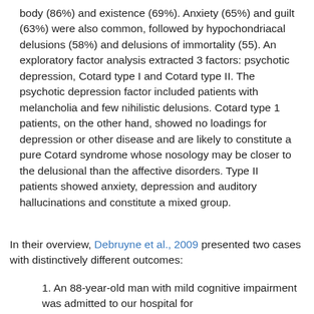body (86%) and existence (69%). Anxiety (65%) and guilt (63%) were also common, followed by hypochondriacal delusions (58%) and delusions of immortality (55). An exploratory factor analysis extracted 3 factors: psychotic depression, Cotard type I and Cotard type II. The psychotic depression factor included patients with melancholia and few nihilistic delusions. Cotard type 1 patients, on the other hand, showed no loadings for depression or other disease and are likely to constitute a pure Cotard syndrome whose nosology may be closer to the delusional than the affective disorders. Type II patients showed anxiety, depression and auditory hallucinations and constitute a mixed group.
In their overview, Debruyne et al., 2009 presented two cases with distinctively different outcomes:
1. An 88-year-old man with mild cognitive impairment was admitted to our hospital for